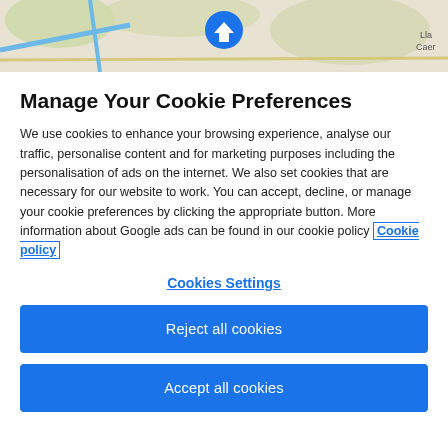[Figure (map): Map background strip showing roads and terrain with a blue house/location icon at top center, partial text 'Lla' and 'Caer' at right edge]
Manage Your Cookie Preferences
We use cookies to enhance your browsing experience, analyse our traffic, personalise content and for marketing purposes including the personalisation of ads on the internet. We also set cookies that are necessary for our website to work. You can accept, decline, or manage your cookie preferences by clicking the appropriate button. More information about Google ads can be found in our cookie policy Cookie policy
Cookies Settings
Reject all cookies
Accept all cookies